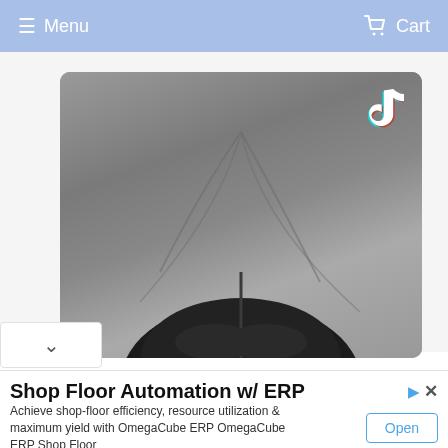≡ Menu    Cart
[Figure (photo): A top-down photo of a person lying on grey fabric/bedding, showing the top of their dark hair. A TikTok logo watermark is visible in the upper right corner of the image.]
Shop Floor Automation w/ ERP
Achieve shop-floor efficiency, resource utilization & maximum yield with OmegaCube ERP OmegaCube ERP Shop Floor
Open